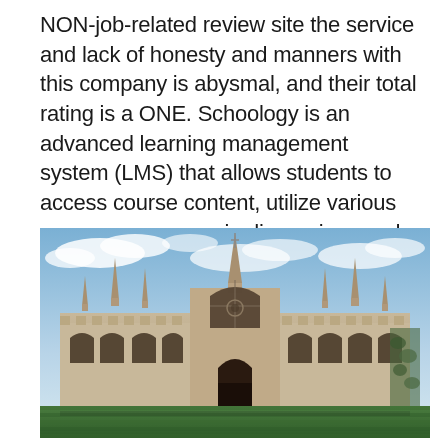NON-job-related review site the service and lack of honesty and manners with this company is abysmal, and their total rating is a ONE. Schoology is an advanced learning management system (LMS) that allows students to access course content, utilize various resources, engage in discussions and digitally submit their assignments.
[Figure (photo): A historic Gothic-style university building with stone spires and arched windows, photographed against a cloudy blue sky, with a manicured green lawn in the foreground.]